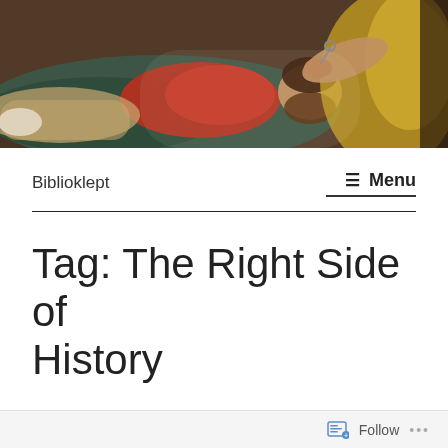[Figure (illustration): A classical painting showing a reclining bearded man in red and dark clothing, with a robed figure reaching toward his head, against a dark background.]
Biblioklept
≡ Menu
Tag: The Right Side of History
Follow ...